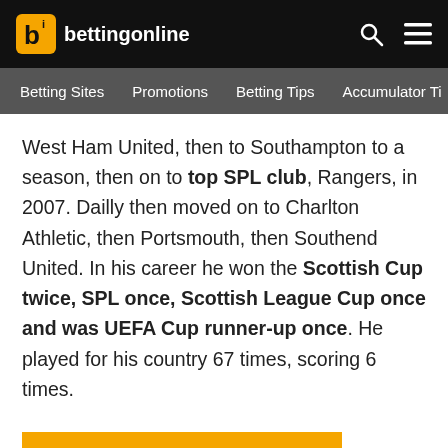bettingonline — Betting Sites | Promotions | Betting Tips | Accumulator Ti
West Ham United, then to Southampton to a season, then on to top SPL club, Rangers, in 2007. Dailly then moved on to Charlton Athletic, then Portsmouth, then Southend United. In his career he won the Scottish Cup twice, SPL once, Scottish League Cup once and was UEFA Cup runner-up once. He played for his country 67 times, scoring 6 times.
Bet On The SPL At Betsson Now!